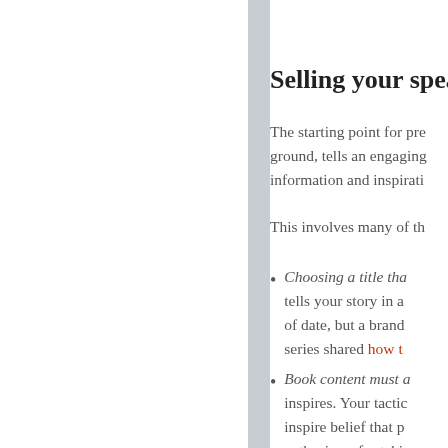Selling your speak
The starting point for pre ground, tells an engaging information and inspirati
This involves many of th
Choosing a title th tells your story in a of date, but a brand series shared how t
Book content must a inspires. Your tactic inspire belief that p enthusiasm for taki
Leveraging your b